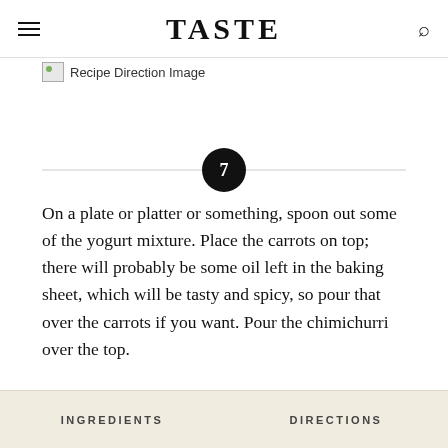TASTE
[Figure (photo): Recipe Direction Image placeholder]
7  On a plate or platter or something, spoon out some of the yogurt mixture. Place the carrots on top; there will probably be some oil left in the baking sheet, which will be tasty and spicy, so pour that over the carrots if you want. Pour the chimichurri over the top.
INGREDIENTS   DIRECTIONS